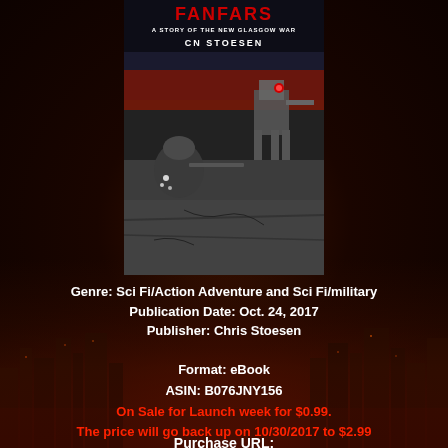[Figure (illustration): Book cover for a sci-fi military novel. Title text at top in red, subtitle 'A Story of the New Glasgow War', author 'CN Stoesen'. Image shows a soldier in tactical gear aiming a weapon, with a mech/robot in the background against a dark sky.]
Genre: Sci Fi/Action Adventure and Sci Fi/military
Publication Date: Oct. 24, 2017
Publisher: Chris Stoesen
Format: eBook
ASIN: B076JNY156
On Sale for Launch week for $0.99.
The price will go back up on 10/30/2017 to $2.99
Purchase URL: